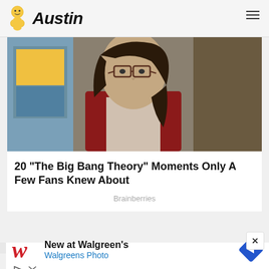Austin
[Figure (photo): Woman with dark hair wearing glasses and a red cardigan, standing indoors with colorful background]
20 "The Big Bang Theory" Moments Only A Few Fans Knew About
Brainberries
[Figure (screenshot): Walgreens advertisement: New at Walgreen's - Walgreens Photo, with Walgreens W logo and navigation arrow diamond icon]